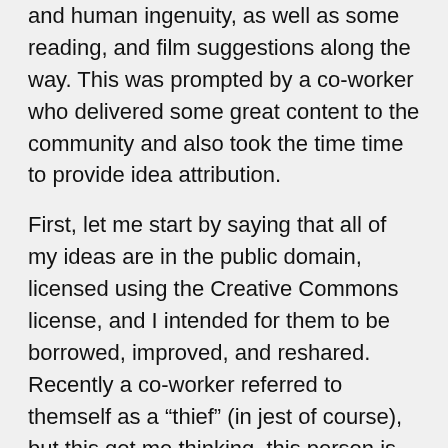and human ingenuity, as well as some reading, and film suggestions along the way. This was prompted by a co-worker who delivered some great content to the community and also took the time time to provide idea attribution.
First, let me start by saying that all of my ideas are in the public domain, licensed using the Creative Commons license, and I intended for them to be borrowed, improved, and reshared. Recently a co-worker referred to themself as a “thief” (in jest of course), but this got me thinking, this person is not a thief but rather a good community actor, providing attribution and not violating the Creative Commons license. 🙂 The most important thing about leveraging that which is governed by Open Source licenses like the Creative Commons or the GNU Public License (GPL) is not only that we provide attribution, but that we improve the idea and contribute our